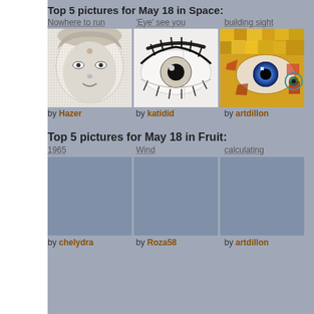Top 5 pictures for May 18 in Space:
Nowhere to run   'Eye' see you   building sight
[Figure (photo): Three photos side by side: a stylized face drawing (by Hazer), a detailed eye illustration (by katidid), and a colorful mosaic eye image (by artdillon)]
by Hazer   by katidid   by artdillon
Top 5 pictures for May 18 in Fruit:
1965   Wind   calculating
[Figure (photo): Three placeholder image areas below the Fruit section titles, images appear blank/grey]
by chelydra   by Roza58   by artdillon